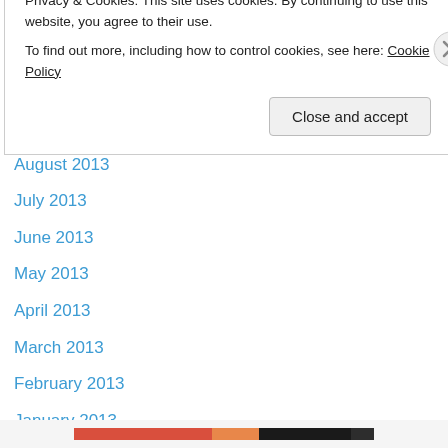December 2013
November 2013
October 2013
September 2013
August 2013
July 2013
June 2013
May 2013
April 2013
March 2013
February 2013
January 2013
December 2012
November 2012
Privacy & Cookies: This site uses cookies. By continuing to use this website, you agree to their use.
To find out more, including how to control cookies, see here: Cookie Policy
Close and accept